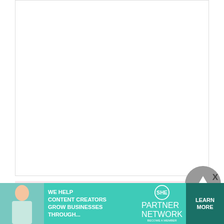[Figure (other): White content area box with light border, empty/blank]
CONNECT
[Figure (other): Social media icons: Facebook (pink rounded square), Twitter (pink rounded square), Pinterest (pink rounded square), YouTube (pink rounded square), Instagram (pink rounded square)]
[Figure (other): Back to top button - grey circle with upward arrow]
[Figure (other): SHE Partner Network advertisement banner - teal background with woman photo, text 'We help content creators grow businesses through...', SHE logo, and 'Learn More' button. X close button visible.]